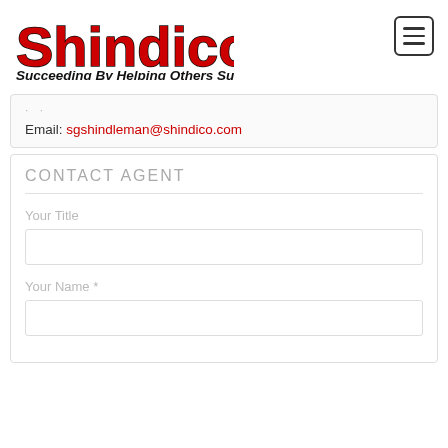[Figure (logo): Shindico logo with red bold text and tagline 'Succeeding By Helping Others Succeed']
Email: sgshindleman@shindico.com
CONTACT AGENT
Your Title
Your Name *